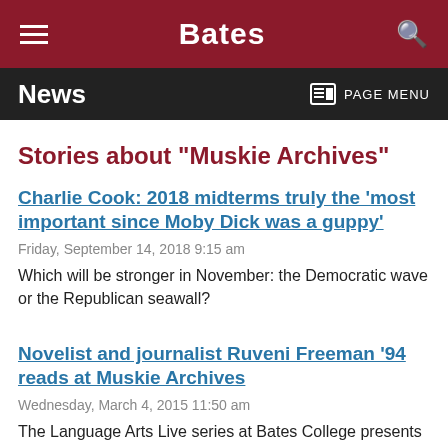Bates
News
Stories about "Muskie Archives"
Charlie Cook: 2018 midterms truly the ‘most important since Moby Dick was a guppy’
Friday, September 14, 2018 9:15 am
Which will be stronger in November: the Democratic wave or the Republican seawall?
Novelist and journalist Ruveni Freeman ’94 reads at Muskie Archives
Wednesday, March 4, 2015 11:50 am
The Language Arts Live series at Bates College presents